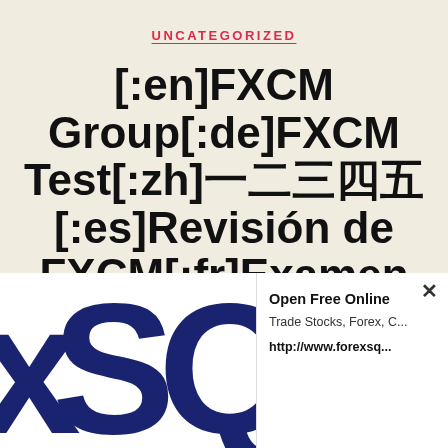UNCATEGORIZED
[:en]FXCM Group[:de]FXCM Test[:zh]▦▦▦▦▦[:es]Revisión de FXCM[:fr]Examen FXCM[:it]Recensione...
[Figure (logo): ForexSQ logo — large dark blue letters 'xSQ' on white background]
Open Free Online
Trade Stocks, Forex, C...
http://www.forexsq...